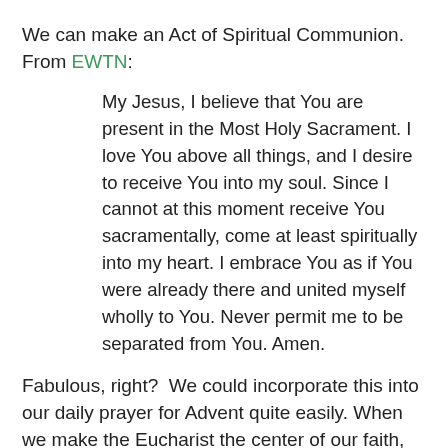We can make an Act of Spiritual Communion. From EWTN:
My Jesus, I believe that You are present in the Most Holy Sacrament. I love You above all things, and I desire to receive You into my soul. Since I cannot at this moment receive You sacramentally, come at least spiritually into my heart. I embrace You as if You were already there and united myself wholly to You. Never permit me to be separated from You. Amen.
Fabulous, right?  We could incorporate this into our daily prayer for Advent quite easily. When we make the Eucharist the center of our faith, we can hear God so much more clearly. He is able to speak to us much more clearly this way. This makes me really appreciate Sunday Mass that much more when I dwell on this!
Why should we have no fear? Because man has been redeemed by God. When pronouncing these words in St. Peter's Square, I already knew that my first encyclical and my entire papacy